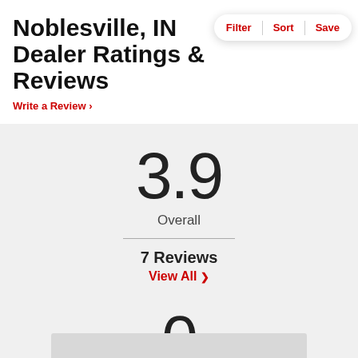Noblesville, IN Dealer Ratings & Reviews
Write a Review ›
Filter | Sort | Save
3.9
Overall
7 Reviews
View All ›
0